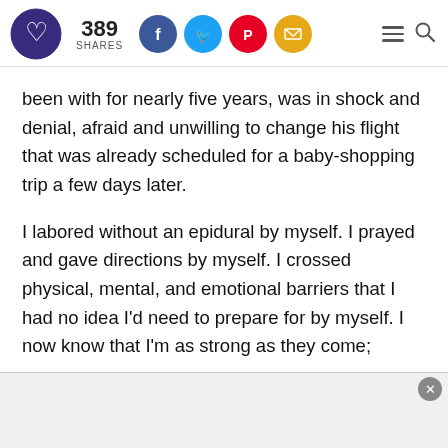389 SHARES [Facebook] [Twitter] [Pinterest] [Email] [Menu] [Search]
been with for nearly five years, was in shock and denial, afraid and unwilling to change his flight that was already scheduled for a baby-shopping trip a few days later.
I labored without an epidural by myself. I prayed and gave directions by myself. I crossed physical, mental, and emotional barriers that I had no idea I'd need to prepare for by myself. I now know that I'm as strong as they come;